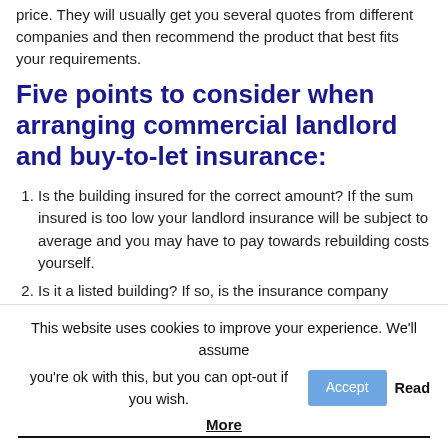price. They will usually get you several quotes from different companies and then recommend the product that best fits your requirements.
Five points to consider when arranging commercial landlord and buy-to-let insurance:
Is the building insured for the correct amount? If the sum insured is too low your landlord insurance will be subject to average and you may have to pay towards rebuilding costs yourself.
Is it a listed building? If so, is the insurance company aware and is the sum insured adequate? Rebuilding can take longer…
This website uses cookies to improve your experience. We'll assume you're ok with this, but you can opt-out if you wish. Accept Read More